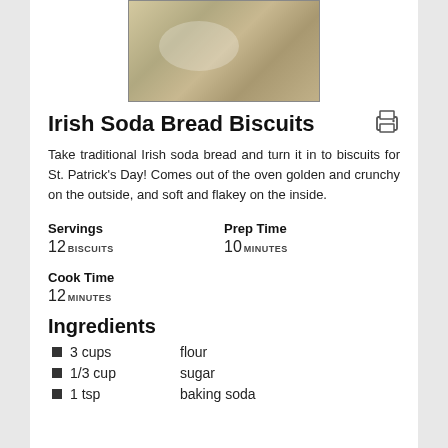[Figure (photo): Photo of Irish Soda Bread Biscuits on a white plate, golden brown biscuits with raisins]
Irish Soda Bread Biscuits
Take traditional Irish soda bread and turn it in to biscuits for St. Patrick's Day! Comes out of the oven golden and crunchy on the outside, and soft and flakey on the inside.
Servings
12 BISCUITS
Prep Time
10 MINUTES
Cook Time
12 MINUTES
Ingredients
3 cups   flour
1/3 cup   sugar
1 tsp   baking soda